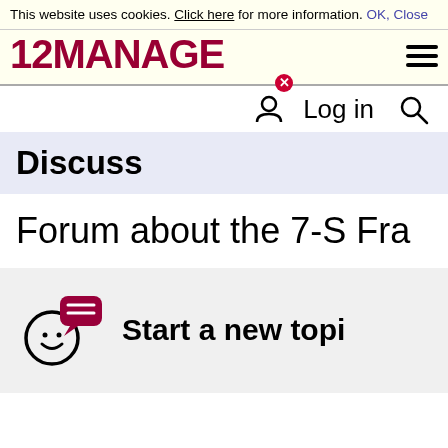This website uses cookies. Click here for more information. OK, Close
[Figure (logo): 12MANAGE logo in dark red bold text with hamburger menu icon]
Log in
Discuss
Forum about the 7-S Fra
Start a new topi